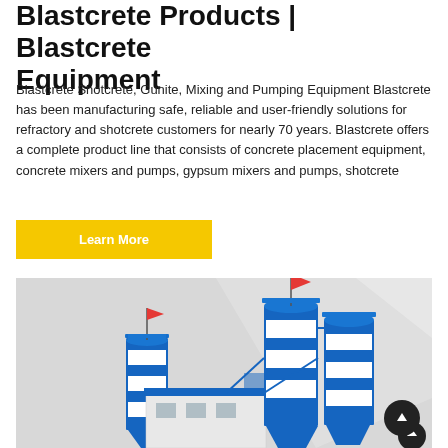Blastcrete Products | Blastcrete Equipment
Blastcrete Shotcrete, Gunite, Mixing and Pumping Equipment Blastcrete has been manufacturing safe, reliable and user-friendly solutions for refractory and shotcrete customers for nearly 70 years. Blastcrete offers a complete product line that consists of concrete placement equipment, concrete mixers and pumps, gypsum mixers and pumps, shotcrete
Learn More
[Figure (photo): Industrial concrete batching plant with large blue and white cylindrical silos topped with red flags, blue steel framework, and a white building structure in the foreground, against a light grey background.]